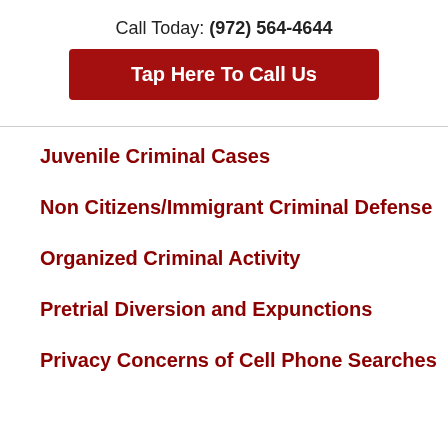Call Today: (972) 564-4644
Tap Here To Call Us
Juvenile Criminal Cases
Non Citizens/Immigrant Criminal Defense
Organized Criminal Activity
Pretrial Diversion and Expunctions
Privacy Concerns of Cell Phone Searches